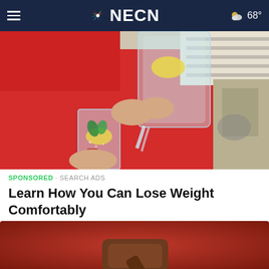NECN — 68°
[Figure (photo): Person in red sweater pouring water with lemon slices from a pitcher into a glass, lifestyle/health photo]
SPONSORED · SEARCH ADS
Learn How You Can Lose Weight Comfortably
[Figure (photo): Red background with a wooden gavel, legal themed advertisement image, partially visible]